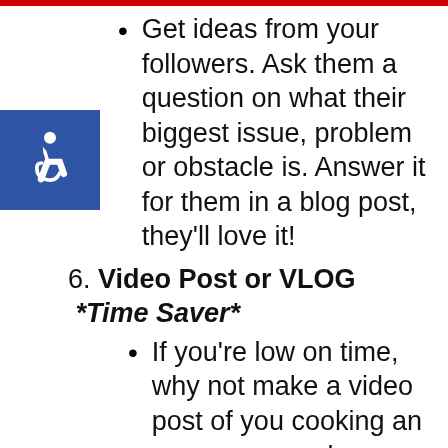Get ideas from your followers. Ask them a question on what their biggest issue, problem or obstacle is. Answer it for them in a blog post, they'll love it!
6. Video Post or VLOG *Time Saver*
If you're low on time, why not make a video post of you cooking an awesome meal, throwing a beautiful Pinterest worthy birthday party, or doing an fun new exercise? Videos spread very quickly and are shared often! If you have the confidence to put your face out